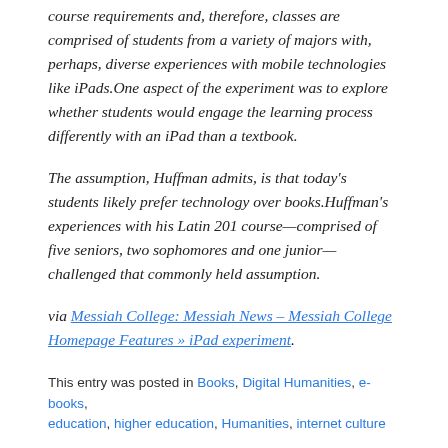course requirements and, therefore, classes are comprised of students from a variety of majors with, perhaps, diverse experiences with mobile technologies like iPads.One aspect of the experiment was to explore whether students would engage the learning process differently with an iPad than a textbook.
The assumption, Huffman admits, is that today's students likely prefer technology over books.Huffman's experiences with his Latin 201 course—comprised of five seniors, two sophomores and one junior—challenged that commonly held assumption.
via Messiah College: Messiah News – Messiah College Homepage Features » iPad experiment.
This entry was posted in Books, Digital Humanities, e-books, education, higher education, Humanities, internet culture